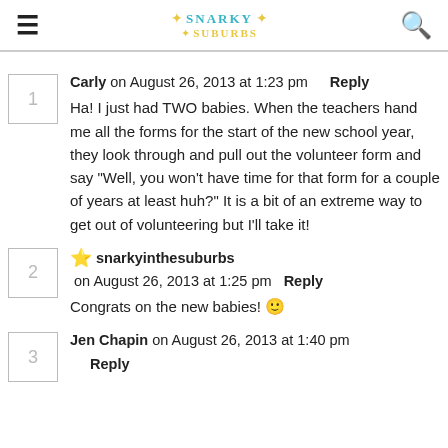Snarky in the Suburbs
1. Carly on August 26, 2013 at 1:23 pm  Reply
Ha! I just had TWO babies. When the teachers hand me all the forms for the start of the new school year, they look through and pull out the volunteer form and say "Well, you won't have time for that form for a couple of years at least huh?" It is a bit of an extreme way to get out of volunteering but I'll take it!
2. snarkyinthesuburbs on August 26, 2013 at 1:25 pm  Reply
Congrats on the new babies! 🙂
3. Jen Chapin on August 26, 2013 at 1:40 pm  Reply